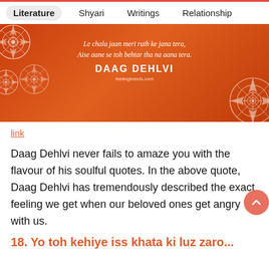Literature  Shyari  Writings  Relationship
[Figure (illustration): Orange banner with decorative mandala patterns and Daag Dehlvi shayari quote: 'Le chala jaan meri ruth ke jana tera, Aise aane se toh behtar tha na aana tera. DAAG DEHLVI feelingtrends.com']
link
Daag Dehlvi never fails to amaze you with the flavour of his soulful quotes. In the above quote, Daag Dehlvi has tremendously described the exact feeling we get when our beloved ones get angry with us.
18. Yo toh kehiye iss khata ki huz zaro...